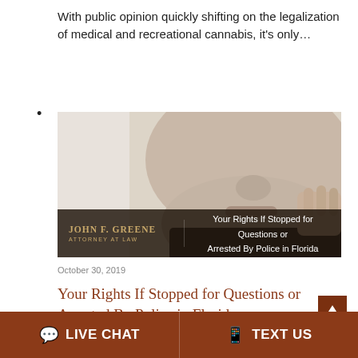With public opinion quickly shifting on the legalization of medical and recreational cannabis, it's only…
•
[Figure (photo): Close-up photo of a man's lower face with fingers near his mouth, with a dark overlay bar showing 'John F. Greene Attorney at Law' on the left and 'Your Rights If Stopped for Questions or Arrested By Police in Florida' on the right.]
October 30, 2019
Your Rights If Stopped for Questions or Arrested By Police in Florida
LIVE CHAT   TEXT US